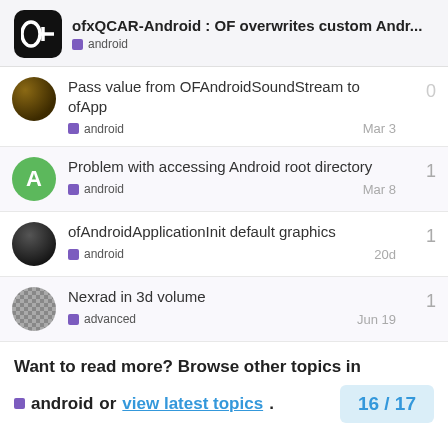ofxQCAR-Android : OF overwrites custom Andr... android
Pass value from OFAndroidSoundStream to ofApp — android — Mar 3 — 0 replies
Problem with accessing Android root directory — android — Mar 8 — 1 reply
ofAndroidApplicationInit default graphics — android — 20d — 1 reply
Nexrad in 3d volume — advanced — Jun 19 — 1 reply
Want to read more? Browse other topics in android or view latest topics. 16 / 17